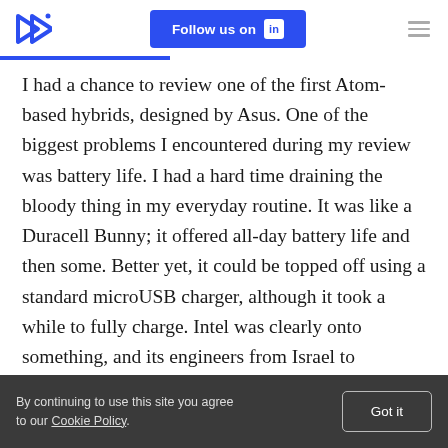Follow us on LinkedIn
I had a chance to review one of the first Atom-based hybrids, designed by Asus. One of the biggest problems I encountered during my review was battery life. I had a hard time draining the bloody thing in my everyday routine. It was like a Duracell Bunny; it offered all-day battery life and then some. Better yet, it could be topped off using a standard microUSB charger, although it took a while to fully charge. Intel was clearly onto something, and its engineers from Israel to California obviously did an
By continuing to use this site you agree to our Cookie Policy. Got it